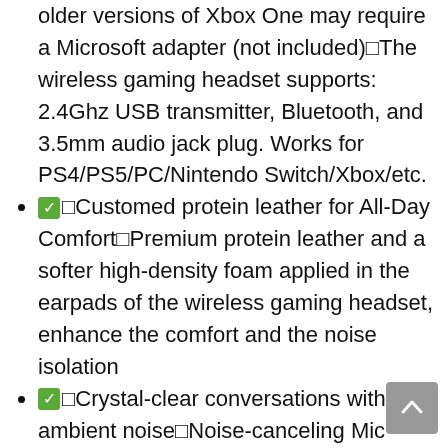older versions of Xbox One may require a Microsoft adapter (not included)□The wireless gaming headset supports: 2.4Ghz USB transmitter, Bluetooth, and 3.5mm audio jack plug. Works for PS4/PS5/PC/Nintendo Switch/Xbox/etc.
✅□Customed protein leather for All-Day Comfort□Premium protein leather and a softer high-density foam applied in the earpads of the wireless gaming headset, enhance the comfort and the noise isolation
✅□Crystal-clear conversations without ambient noise□Noise-canceling Mic accurately picks up your voice and transmits high-quality